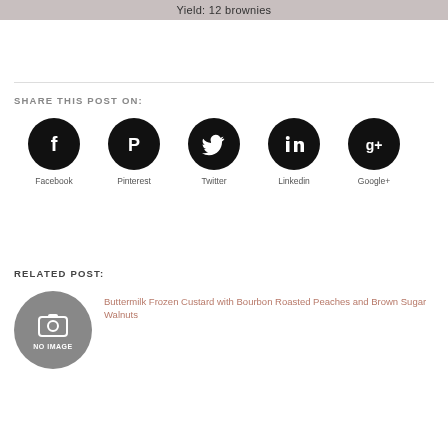Yield: 12 brownies
SHARE THIS POST ON:
[Figure (infographic): Social media sharing icons: Facebook, Pinterest, Twitter, Linkedin, Google+]
RELATED POST:
[Figure (photo): No image placeholder circle with camera icon]
Buttermilk Frozen Custard with Bourbon Roasted Peaches and Brown Sugar Walnuts